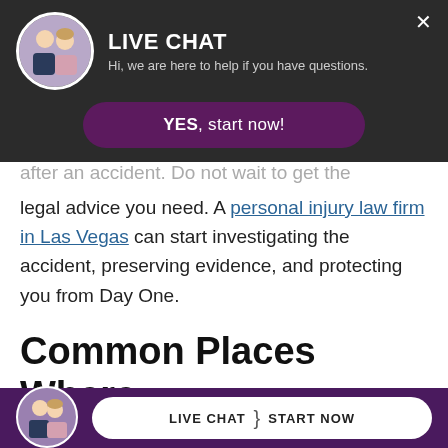[Figure (screenshot): Live chat popup overlay with two people avatar, title 'LIVE CHAT', subtitle 'Hi, we are here to help if you have questions.', close button X, and a purple 'YES, start now!' button]
after an accident. Do not wait to get the legal advice you need. A personal injury law firm in Las Vegas can start investigating the accident, preserving evidence, and protecting you from Day One.
Common Places Where Accidents Occur
[Figure (screenshot): Bottom bar with purple background, two people avatar circle, and a white pill button reading 'LIVE CHAT | START NOW']